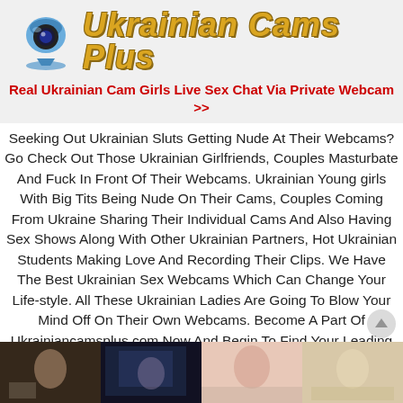[Figure (logo): Ukrainian Cams Plus logo with webcam icon and stylized yellow/gold italic text]
Real Ukrainian Cam Girls Live Sex Chat Via Private Webcam >>
Seeking Out Ukrainian Sluts Getting Nude At Their Webcams? Go Check Out Those Ukrainian Girlfriends, Couples Masturbate And Fuck In Front Of Their Webcams. Ukrainian Young girls With Big Tits Being Nude On Their Cams, Couples Coming From Ukraine Sharing Their Individual Cams And Also Having Sex Shows Along With Other Ukrainian Partners, Hot Ukrainian Students Making Love And Recording Their Clips. We Have The Best Ukrainian Sex Webcams Which Can Change Your Life-style. All These Ukrainian Ladies Are Going To Blow Your Mind Off On Their Own Webcams. Become A Part Of Ukrainiancamsplus.com Now And Begin To Find Your Leading On-line Ukrainian Experience In Your Life!
[Figure (photo): Row of four webcam thumbnail images at the bottom of the page]